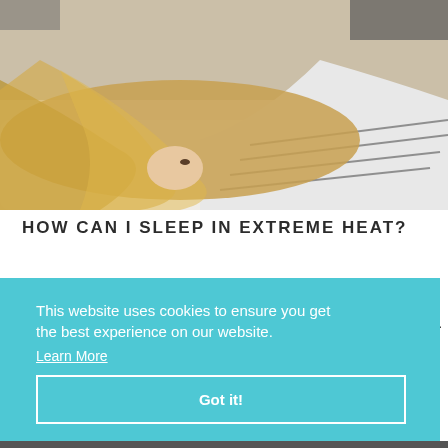[Figure (photo): Woman with blonde hair lying face-down on white bedding, wearing a white and black striped shirt.]
HOW CAN I SLEEP IN EXTREME HEAT?
This website uses cookies to ensure you get the best experience on our website.
Learn More
Got it!
lenge.